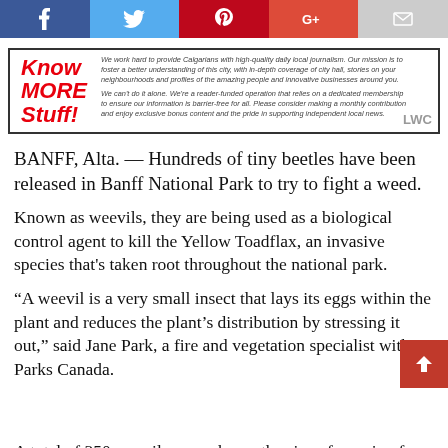[Figure (other): Social media sharing buttons bar: Facebook (blue), Twitter (light blue), Pinterest (red), Google+ (orange-red), Email (grey)]
[Figure (other): Know MORE Stuff! advertisement box with red bold italic text on left and description text on right about Calgary local journalism membership, LWC badge in corner]
BANFF, Alta. — Hundreds of tiny beetles have been released in Banff National Park to try to fight a weed.
Known as weevils, they are being used as a biological control agent to kill the Yellow Toadflax, an invasive species that's taken root throughout the national park.
“A weevil is a very small insect that lays its eggs within the plant and reduces the plant’s distribution by stressing it out,” said Jane Park, a fire and vegetation specialist with Parks Canada.
A total of 350 weevils — each one the size of a grain of rice —